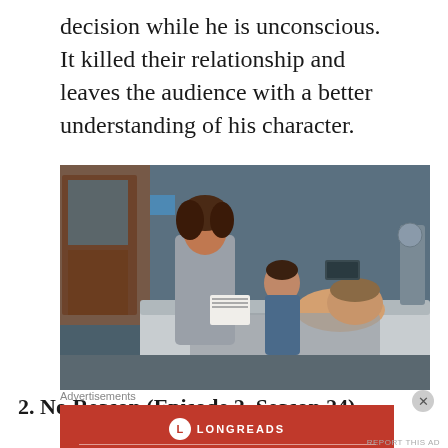decision while he is unconscious. It killed their relationship and leaves the audience with a better understanding of his character.
[Figure (photo): TV scene showing a female doctor in a grey coat handing papers to a male patient lying in a hospital bed, with a second woman seated in the background.]
2. No Reason (Episode 2, Season 24) — As
Advertisements
[Figure (infographic): Longreads advertisement banner in red: 'The best stories on the web — ours, and everyone else's.']